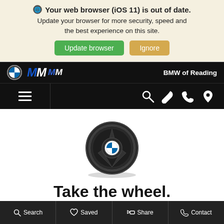Your web browser (iOS 11) is out of date. Update your browser for more security, speed and the best experience on this site.
Update browser | Ignore
[Figure (logo): BMW roundel logo and M badge, with 'BMW of Reading' text on black navigation bar]
[Figure (illustration): BMW steering wheel with BMW logo center, top-down view on white background]
Take the wheel.
Get on the road with your local
Search | Saved | Share | Contact